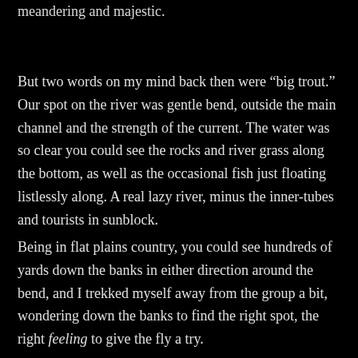meandering and majestic.
But two words on my mind back then were “big trout.” Our spot on the river was gentle bend, outside the main channel and the strength of the current. The water was so clear you could see the rocks and river grass along the bottom, as well as the occasional fish just floating listlessly along. A real lazy river, minus the inner-tubes and tourists in sunblock.
Being in flat plains country, you could see hundreds of yards down the banks in either direction around the bend, and I trekked myself away from the group a bit, wondering down the banks to find the right spot, the right feeling to give the fly a try.